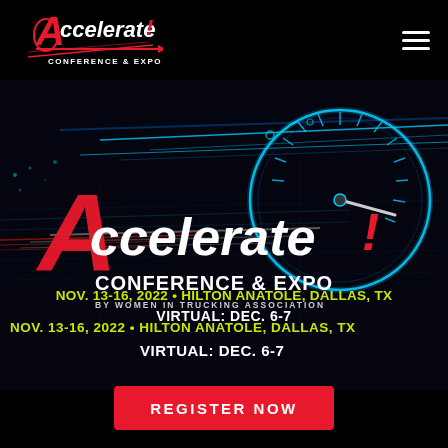[Figure (logo): Accelerate! Conference & Expo logo in top left with red A letter and red underline/arrow]
[Figure (infographic): Accelerate! Conference & Expo promotional banner with speedometer graphic, speed lines, and event details on black background]
NOV. 13-16, 2022 • HILTON ANATOLE, DALLAS, TX
VIRTUAL: DEC. 6-7
REGISTER NOW